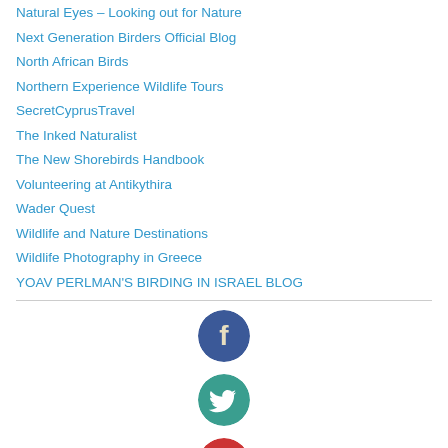Natural Eyes – Looking out for Nature
Next Generation Birders Official Blog
North African Birds
Northern Experience Wildlife Tours
SecretCyprusTravel
The Inked Naturalist
The New Shorebirds Handbook
Volunteering at Antikythira
Wader Quest
Wildlife and Nature Destinations
Wildlife Photography in Greece
YOAV PERLMAN'S BIRDING IN ISRAEL BLOG
[Figure (logo): Facebook circular icon, dark blue background with white 'f' letter]
[Figure (logo): Twitter circular icon, teal background with white bird logo]
[Figure (logo): Google+ circular icon, red background with white 'g+' text]